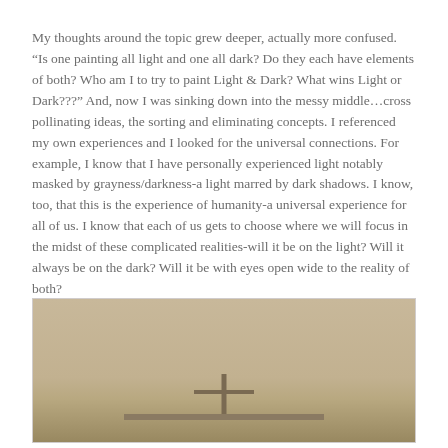My thoughts around the topic grew deeper, actually more confused. “Is one painting all light and one all dark? Do they each have elements of both? Who am I to try to paint Light & Dark? What wins Light or Dark???” And, now I was sinking down into the messy middle…cross pollinating ideas, the sorting and eliminating concepts. I referenced my own experiences and I looked for the universal connections. For example, I know that I have personally experienced light notably masked by grayness/darkness-a light marred by dark shadows. I know, too, that this is the experience of humanity-a universal experience for all of us. I know that each of us gets to choose where we will focus in the midst of these complicated realities-will it be on the light? Will it always be on the dark? Will it be with eyes open wide to the reality of both?
[Figure (photo): A photograph showing a room interior with beige/tan walls and what appears to be a shelf or ledge with a post or stand in the center, photographed in muted warm tones.]